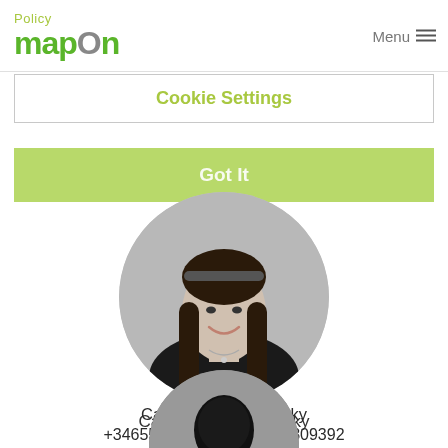Policy mapon  Menu
Cookie Settings
Got It
[Figure (photo): Black and white circular profile photo of Carina Alba Krasovsky, a woman with long dark hair smiling]
Carina Alba Krasovsky
+34655936790, +5277771809392
carina@mapon.com
[Figure (illustration): Three circular flag icons in a row: Spain flag, UK (Union Jack) flag, Portugal flag]
[Figure (photo): Second profile photo partially visible at bottom, black and white circular crop of a person with dark hair]